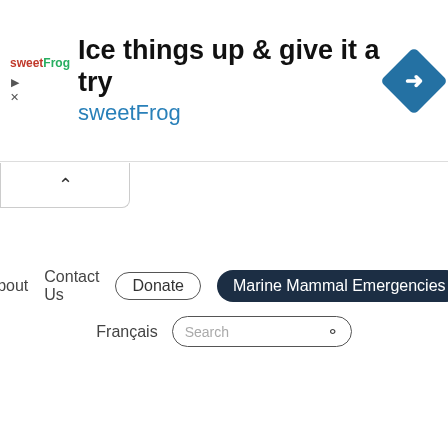[Figure (screenshot): Advertisement banner for sweetFrog frozen yogurt showing logo, headline 'Ice things up & give it a try', brand name 'sweetFrog', and a blue navigation diamond icon]
[Figure (screenshot): Website navigation bar with links: About, Contact Us, Donate button, Marine Mammal Emergencies button, Français link, and a Search input field]